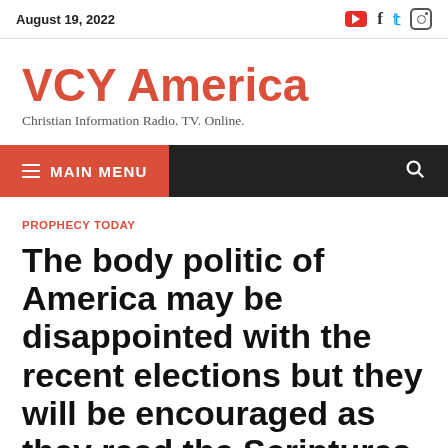August 19, 2022
VCY America
Christian Information Radio. TV. Online.
≡ MAIN MENU
PROPHECY TODAY
The body politic of America may be disappointed with the recent elections but they will be encouraged as they read the Scriptures